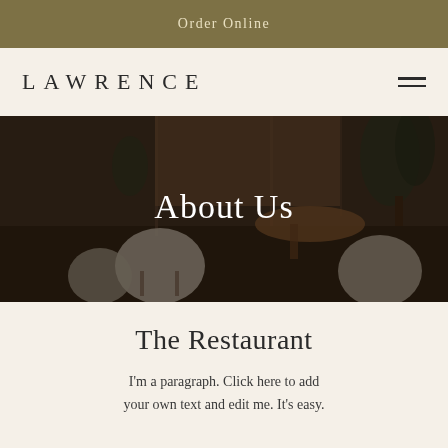Order Online
LAWRENCE
[Figure (photo): Restaurant interior with modern chairs, plants, and warm lighting, overlaid with semi-transparent dark overlay and 'About Us' text centered on the image]
The Restaurant
I'm a paragraph. Click here to add your own text and edit me. It's easy.